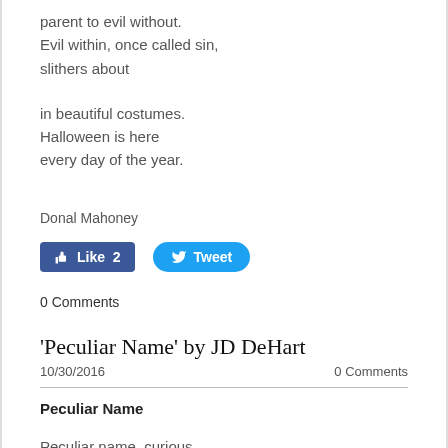parent to evil without.
Evil within, once called sin,
slithers about
in beautiful costumes.
Halloween is here
every day of the year.
Donal Mahoney
[Figure (screenshot): Facebook Like button showing 2 likes and Twitter Tweet button]
0 Comments
'Peculiar Name' by JD DeHart
10/30/2016
0 Comments
Peculiar Name
Peculiar name, curious